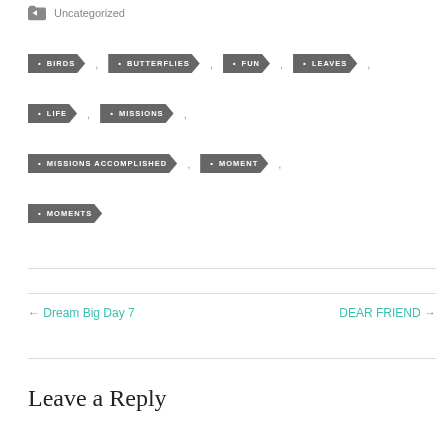Uncategorized
• BIRDS
• BUTTERFLIES
• FUN
• LEAVES
• LIFE
• MISSIONS
• MISSIONS ACCOMPLISHED
• MOMENT
• MOMENTS
← Dream Big Day 7
DEAR FRIEND →
Leave a Reply